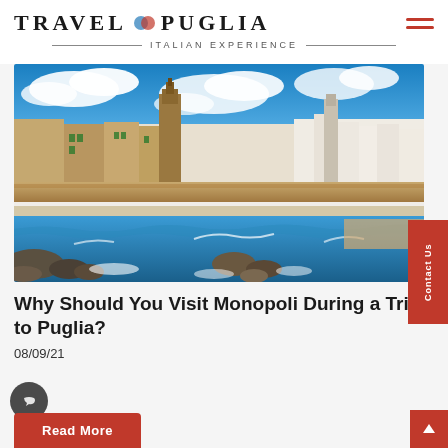TRAVEL PUGLIA — ITALIAN EXPERIENCE
[Figure (photo): Coastal view of Monopoli, Puglia, Italy — historic stone buildings, church tower, city walls, rocky shoreline with blue waves and white clouds]
Why Should You Visit Monopoli During a Trip to Puglia?
08/09/21
Read More